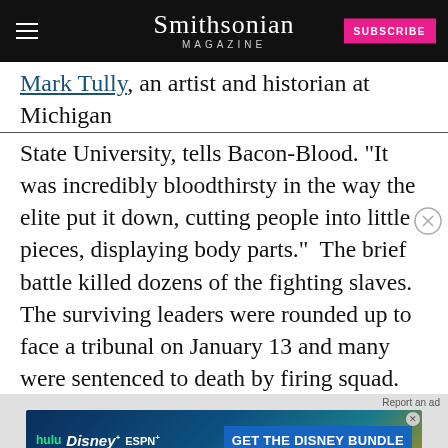Smithsonian MAGAZINE
State University, tells Bacon-Blood. "It was incredibly bloodthirsty in the way the elite put it down, cutting people into little pieces, displaying body parts."  The brief battle killed dozens of the fighting slaves. The surviving leaders were rounded up to face a tribunal on January 13 and many were sentenced to death by firing squad.
[Figure (other): Disney Bundle advertisement banner with Hulu, Disney+, and ESPN+ logos and a 'GET THE DISNEY BUNDLE' call to action button]
"Their heads were cut off and placed on ... along ... intimidate the other slaves," writes Waters for